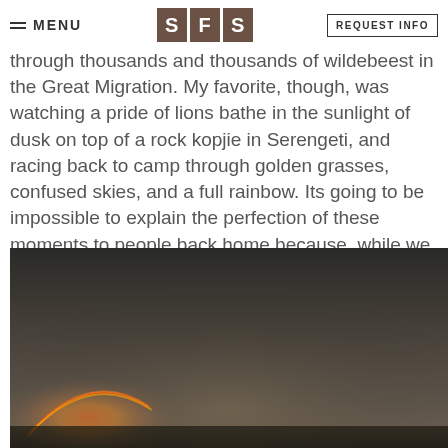MENU | SFS | REQUEST INFO
through thousands and thousands of wildebeest in the Great Migration. My favorite, though, was watching a pride of lions bathe in the sunlight of dusk on top of a rock kopjie in Serengeti, and racing back to camp through golden grasses, confused skies, and a full rainbow. Its going to be impossible to explain the perfection of these moments to people back home because, while we can tell them about the things we saw, we will never be able to explain the faultless pleasantness of being there.
[Figure (photo): Dark dusk landscape photo of the Serengeti with a faint rainbow visible in the lower left corner, dark sky gradient.]